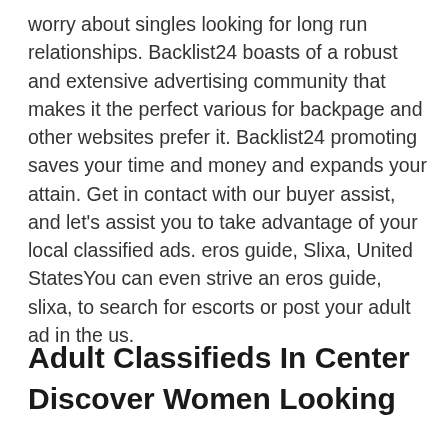worry about singles looking for long run relationships. Backlist24 boasts of a robust and extensive advertising community that makes it the perfect various for backpage and other websites prefer it. Backlist24 promoting saves your time and money and expands your attain. Get in contact with our buyer assist, and let's assist you to take advantage of your local classified ads. eros guide, Slixa, United StatesYou can even strive an eros guide, slixa, to search for escorts or post your adult ad in the us.
Adult Classifieds In Center Discover Women Looking